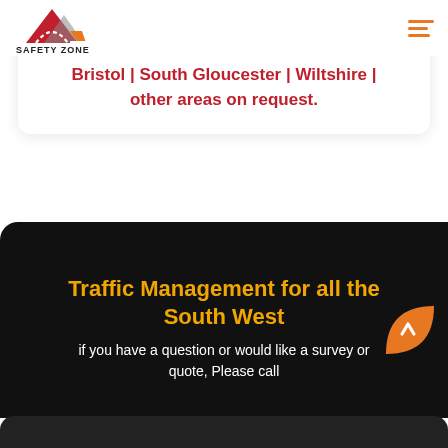[Figure (logo): Safety Zone Traffic Management Ltd logo — red and grey mountain/road icon with orange traffic cone, company name below]
[Figure (other): Hamburger menu icon with three orange horizontal lines, right-aligned in header]
Bristol | South Gloucester | Wiltshire | other areas on request.
Traffic Management for all the South West
if you have a question or would like a survey or quote, Please call